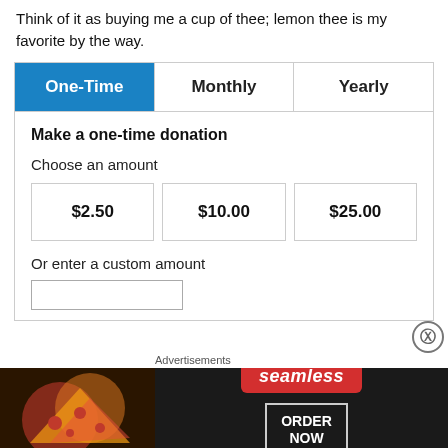Think of it as buying me a cup of thee; lemon thee is my favorite by the way.
[Figure (screenshot): Donation widget with tabs: One-Time (active/blue), Monthly, Yearly. Content shows 'Make a one-time donation', 'Choose an amount' with $2.50, $10.00, $25.00 buttons, 'Or enter a custom amount' with an input field.]
[Figure (screenshot): Advertisement banner: 'Advertisements' label above a dark banner with pizza image on left, seamless red logo in center, 'ORDER NOW' button on right.]